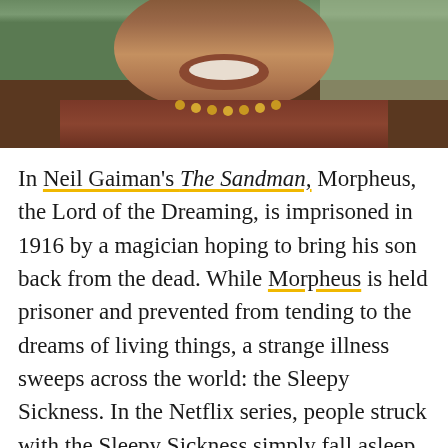[Figure (photo): Close-up photograph of a person, partially visible, wearing reddish-brown clothing and a beaded necklace, face cropped at top]
In Neil Gaiman's The Sandman, Morpheus, the Lord of the Dreaming, is imprisoned in 1916 by a magician hoping to bring his son back from the dead. While Morpheus is held prisoner and prevented from tending to the dreams of living things, a strange illness sweeps across the world: the Sleepy Sickness. In the Netflix series, people struck with the Sleepy Sickness simply fall asleep and don't wake up. In the original comics, they suffer a variety of symptoms, including wakefulness and psychosis. But while The Sandman is a fantasy, the Sleepy Sickness was an actual historical event. Mark Summer describes it in